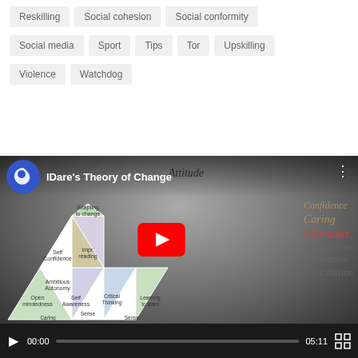Reskilling
Social cohesion
Social conformity
Social media
Sport
Tips
Tor
Upskilling
Violence
Watchdog
[Figure (screenshot): Embedded YouTube video player showing 'IDare's Theory of Change' video. The thumbnail shows a pyramid/triangle diagram with labels including Attitude at top, and words on the right: Confidence, Caring, Character, Competencies, Connection, Contribution. Video duration is 05:11, current time 00:00. YouTube play button overlay visible.]